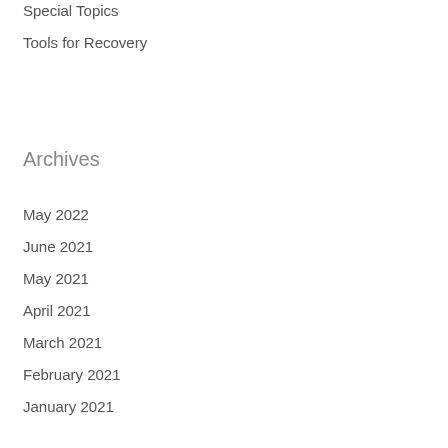Special Topics
Tools for Recovery
Archives
May 2022
June 2021
May 2021
April 2021
March 2021
February 2021
January 2021